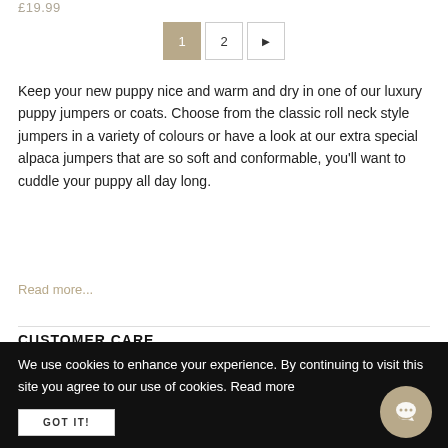£19.99
1 2 ▶
Keep your new puppy nice and warm and dry in one of our luxury puppy jumpers or coats. Choose from the classic roll neck style jumpers in a variety of colours or have a look at our extra special alpaca jumpers that are so soft and conformable, you'll want to cuddle your puppy all day long.
Read more...
CUSTOMER CARE
Contact Us
We use cookies to enhance your experience. By continuing to visit this site you agree to our use of cookies. Read more
GOT IT!